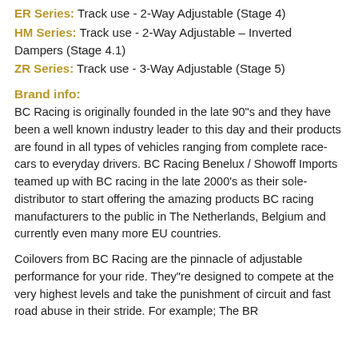ER Series: Track use - 2-Way Adjustable (Stage 4)
HM Series: Track use - 2-Way Adjustable – Inverted Dampers (Stage 4.1)
ZR Series: Track use - 3-Way Adjustable (Stage 5)
Brand info:
BC Racing is originally founded in the late 90"s and they have been a well known industry leader to this day and their products are found in all types of vehicles ranging from complete race-cars to everyday drivers. BC Racing Benelux / Showoff Imports teamed up with BC racing in the late 2000's as their sole-distributor to start offering the amazing products BC racing manufacturers to the public in The Netherlands, Belgium and currently even many more EU countries.
Coilovers from BC Racing are the pinnacle of adjustable performance for your ride. They"re designed to compete at the very highest levels and take the punishment of circuit and fast road abuse in their stride. For example; The BR